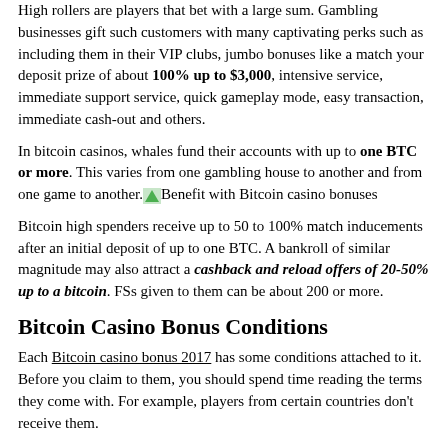High rollers are players that bet with a large sum. Gambling businesses gift such customers with many captivating perks such as including them in their VIP clubs, jumbo bonuses like a match your deposit prize of about 100% up to $3,000, intensive service, immediate support service, quick gameplay mode, easy transaction, immediate cash-out and others.
In bitcoin casinos, whales fund their accounts with up to one BTC or more. This varies from one gambling house to another and from one game to another. Benefit with Bitcoin casino bonuses
Bitcoin high spenders receive up to 50 to 100% match inducements after an initial deposit of up to one BTC. A bankroll of similar magnitude may also attract a cashback and reload offers of 20-50% up to a bitcoin. FSs given to them can be about 200 or more.
Bitcoin Casino Bonus Conditions
Each Bitcoin casino bonus 2017 has some conditions attached to it. Before you claim to them, you should spend time reading the terms they come with. For example, players from certain countries don't receive them.
There are also wagering requirements and minimum winning amount to satisfy before the withdrawal of earnings is made.